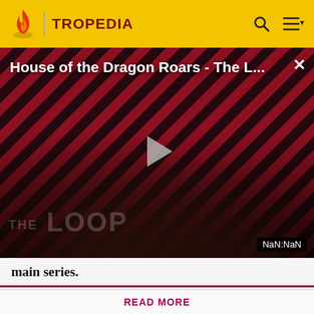TROPEDIA
[Figure (screenshot): Video player showing 'House of the Dragon Roars - The L...' with diagonal red and dark stripe background, two silhouetted figures, play button, THE LOOP branding, and NaN:NaN timestamp]
main series.
Before making a single edit, Tropedia EXPECTS our site policy and manual of style to be followed. Failure to do so may
READ MORE